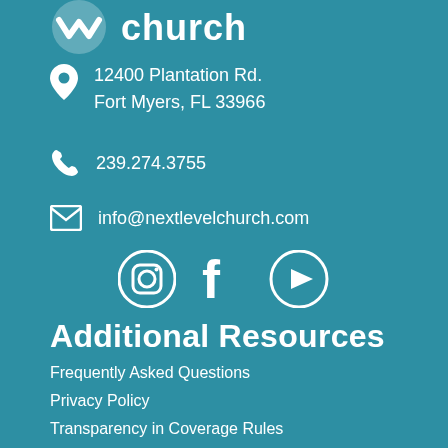[Figure (logo): Next Level Church logo with icon and text 'church']
12400 Plantation Rd.
Fort Myers, FL 33966
239.274.3755
info@nextlevelchurch.com
[Figure (illustration): Social media icons: Instagram, Facebook, YouTube]
Additional Resources
Frequently Asked Questions
Privacy Policy
Transparency in Coverage Rules